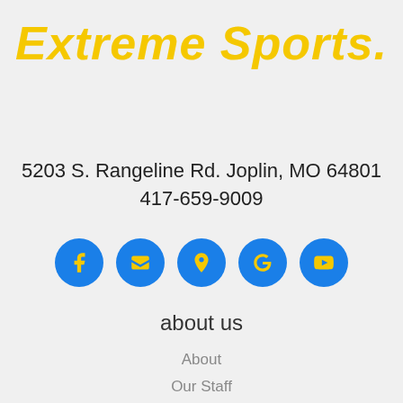Extreme Sports
5203 S. Rangeline Rd. Joplin, MO 64801
417-659-9009
[Figure (infographic): Five blue circular social media/link icons with yellow symbols: Facebook (f), Email/store, Map/location, Google (G), YouTube (play button)]
about us
About
Our Staff
Blog
Photo Gallery / Media